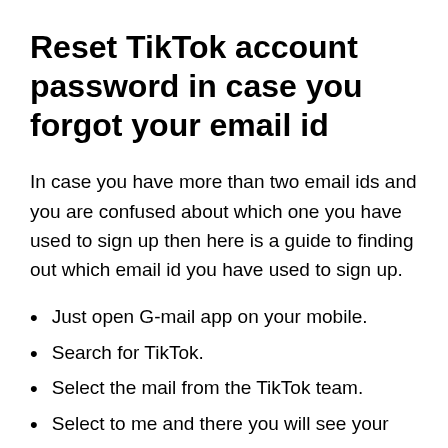Reset TikTok account password in case you forgot your email id
In case you have more than two email ids and you are confused about which one you have used to sign up then here is a guide to finding out which email id you have used to sign up.
Just open G-mail app on your mobile.
Search for TikTok.
Select the mail from the TikTok team.
Select to me and there you will see your